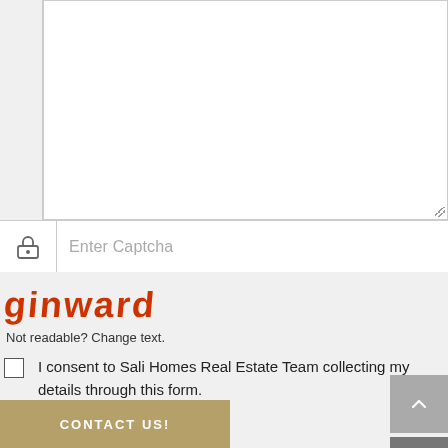[Figure (screenshot): Textarea input field (white box) with resize handle, set against a light gray background with a narrow left sidebar]
Enter Captcha
[Figure (screenshot): Captcha image showing the text 'ginward' in red stylized font]
Not readable? Change text.
I consent to Sali Homes Real Estate Team collecting my details through this form.
CONTACT US!